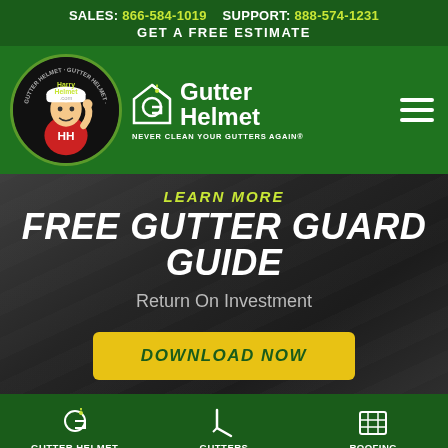SALES: 866-584-1019   SUPPORT: 888-574-1231
GET A FREE ESTIMATE
[Figure (logo): Gutter Helmet logo with Harry Helmet mascot character and brand name]
FREE GUTTER GUARD GUIDE
LEARN MORE
Return On Investment
DOWNLOAD NOW
GUTTER HELMET   GUTTERS   ROOFING